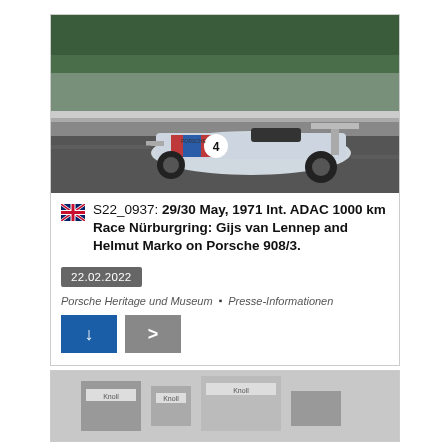[Figure (photo): Race photo of a Porsche 908/3 sports car with number 4, in Martini livery, racing on a track at the 1971 Nürburgring 1000 km race.]
S22_0937: 29/30 May, 1971 Int. ADAC 1000 km Race Nürburgring: Gijs van Lennep and Helmut Marko on Porsche 908/3.
22.02.2022
Porsche Heritage und Museum  ▪  Presse-Informationen
[Figure (photo): Black and white photo, partially visible, appears to show a pit lane or garage scene.]